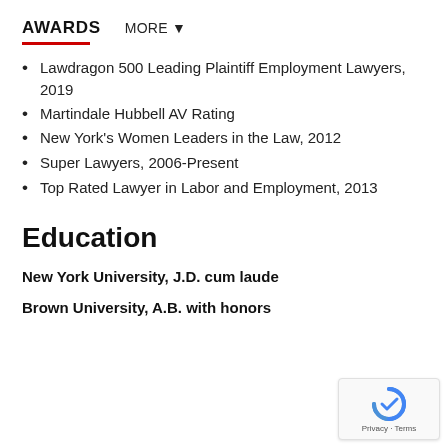AWARDS   MORE ▼
Lawdragon 500 Leading Plaintiff Employment Lawyers, 2019
Martindale Hubbell AV Rating
New York's Women Leaders in the Law, 2012
Super Lawyers, 2006-Present
Top Rated Lawyer in Labor and Employment, 2013
Education
New York University, J.D. cum laude
Brown University, A.B. with honors
[Figure (other): reCAPTCHA badge with Privacy and Terms text]